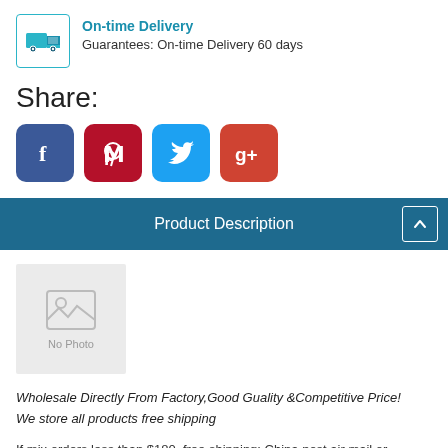[Figure (illustration): Delivery truck icon in a teal-bordered box]
On-time Delivery
Guarantees: On-time Delivery 60 days
Share:
[Figure (illustration): Social media share buttons: Facebook, Pinterest, Twitter, Google+]
Product Description
[Figure (photo): No Photo placeholder image]
Wholesale Directly From Factory,Good Guality &Competitive Price! We store all products free shipping
If mix orders less than $180, free shipping: China post air mail or